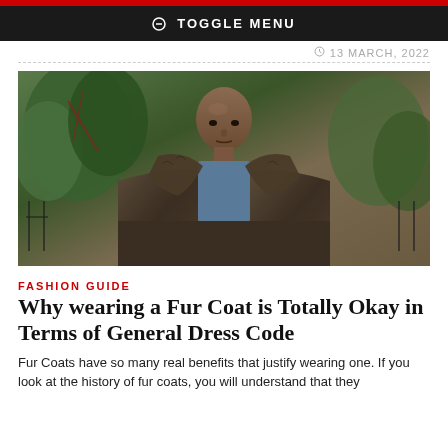TOGGLE MENU
13 MARCH, 2022
[Figure (photo): A bald man wearing a large brown fur coat standing outdoors with trees and an iron fence in the background]
FASHION GUIDE
Why wearing a Fur Coat is Totally Okay in Terms of General Dress Code
Fur Coats have so many real benefits that justify wearing one. If you look at the history of fur coats, you will understand that they